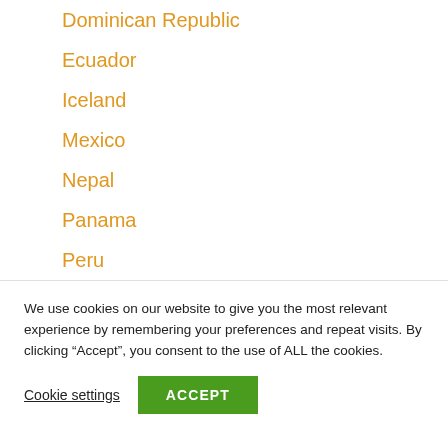Dominican Republic
Ecuador
Iceland
Mexico
Nepal
Panama
Peru
River Cruise
Safari
Slovenia
We use cookies on our website to give you the most relevant experience by remembering your preferences and repeat visits. By clicking “Accept”, you consent to the use of ALL the cookies.
Cookie settings | ACCEPT